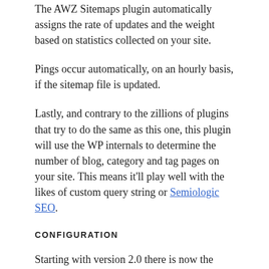The AWZ Sitemaps plugin automatically assigns the rate of updates and the weight based on statistics collected on your site.
Pings occur automatically, on an hourly basis, if the sitemap file is updated.
Lastly, and contrary to the zillions of plugins that try to do the same as this one, this plugin will use the WP internals to determine the number of blog, category and tag pages on your site. This means it'll play well with the likes of custom query string or Semiologic SEO.
CONFIGURATION
Starting with version 2.0 there is now the ability to control the inclusion or exclusion of date archives (years and months), author, category and tags pages in your sitemap.